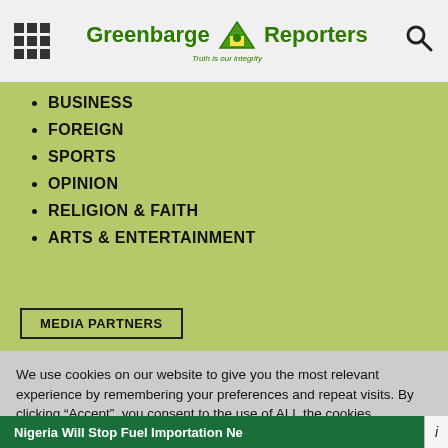Greenbarge Reporters — Truth is our integrity
BUSINESS
FOREIGN
SPORTS
OPINION
RELIGION & FAITH
ARTS & ENTERTAINMENT
MEDIA PARTNERS
We use cookies on our website to give you the most relevant experience by remembering your preferences and repeat visits. By clicking “Accept”, you consent to the use of ALL the cookies.
Cookie settings   ACCEPT
Nigeria Will Stop Fuel Importation Ne...